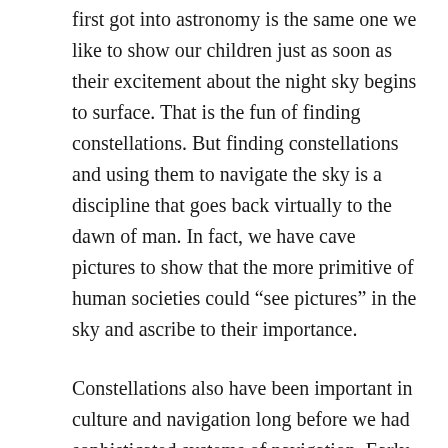first got into astronomy is the same one we like to show our children just as soon as their excitement about the night sky begins to surface. That is the fun of finding constellations. But finding constellations and using them to navigate the sky is a discipline that goes back virtually to the dawn of man. In fact, we have cave pictures to show that the more primitive of human societies could “see pictures” in the sky and ascribe to their importance.
Constellations also have been important in culture and navigation long before we had sophisticated systems of navigation. Early explorers, particularly by sea, relied exclusively on the night sky to help them find their way to their destination. In fact, when “Columbus sailed the ocean blue in 1492” and “discovered” America, he could not have done it without astronomy and the help of